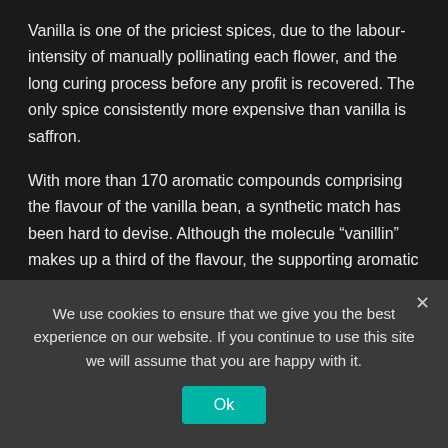Vanilla is one of the priciest spices, due to the labour-intensity of manually pollinating each flower, and the long curing process before any profit is recovered. The only spice consistently more expensive than vanilla is saffron.
With more than 170 aromatic compounds comprising the flavour of the vanilla bean, a synthetic match has been hard to devise. Although the molecule “vanillin” makes up a third of the flavour, the supporting aromatic molecules that round out the characteristic “vanilla” are still a bit of a mystery. That’s why the “vanilla essence” you get on the
We use cookies to ensure that we give you the best experience on our website. If you continue to use this site we will assume that you are happy with it.